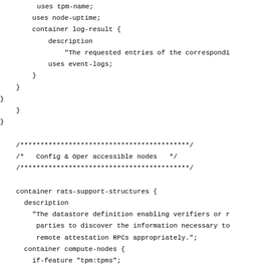uses tpm-name;
    uses node-uptime;
    container log-result {
        description
            "The requested entries of the correspondi
        uses event-logs;
    }
}
    }
}

/******************************************/
/*   Config & Oper accessible nodes   */
/******************************************/

container rats-support-structures {
  description
    "The datastore definition enabling verifiers or r
     parties to discover the information necessary to
     remote attestation RPCs appropriately.";
  container compute-nodes {
    if-feature "tpm:tpms";
    description
      "Holds the set device subsystems/components in
       device that support TPM operations.";
    list compute-node {
      key "node-id";
      config false;
      min-elements 2;
      description